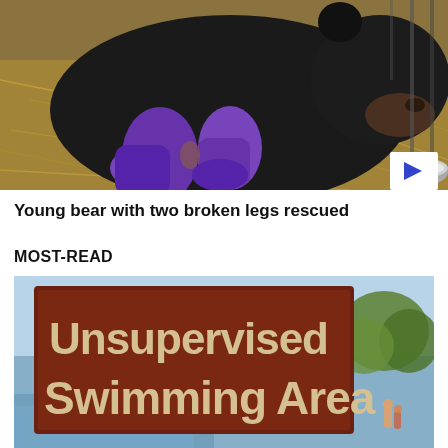[Figure (photo): A young black bear sitting on straw/hay with purple bandages on its front legs, looking down at its wrapped legs. A metal bowl is visible at the right edge. A wire cage is in the background. A white play button icon is visible in the bottom-right corner of the image.]
Young bear with two broken legs rescued
MOST-READ
[Figure (photo): A brown sign reading 'Unsupervised Swimming Area' photographed outdoors near a lake with trees and people visible in the background.]